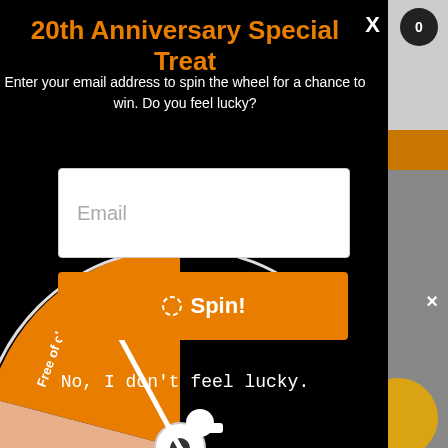20th Anniversary Special Treat
Enter your email address to spin the wheel for a chance to win. Do you feel lucky?
Email
Spin!
No, I don't feel lucky.
[Figure (illustration): Partial spin wheel visible in bottom-left corner with orange and salmon/pink segments. Text on segments reads 'Free of charge' and 'No luck today.' A white pointer/arrow pin is visible in the center hub area.]